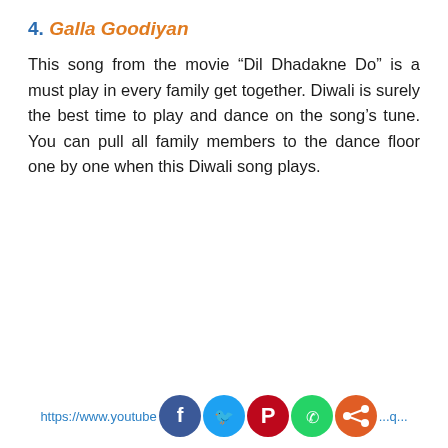4. Galla Goodiyan
This song from the movie “Dil Dhadakne Do” is a must play in every family get together. Diwali is surely the best time to play and dance on the song’s tune. You can pull all family members to the dance floor one by one when this Diwali song plays.
https://www.youtube.com/...h...c...q...